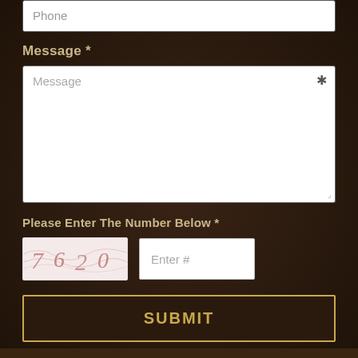Phone
Message *
Message
Please Enter The Number Below *
[Figure (other): CAPTCHA image showing numbers 7620 with wavy lines on pinkish background]
Enter #
SUBMIT
Share On:
[Figure (infographic): Social share icons: Facebook, Twitter, LinkedIn, Google+, Pinterest, Email — gold square buttons]